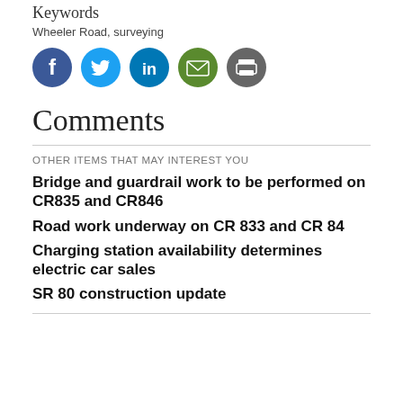Keywords
Wheeler Road, surveying
[Figure (infographic): Row of five social media share icons: Facebook (blue), Twitter (light blue), LinkedIn (blue), Email (green), Print (dark gray)]
Comments
OTHER ITEMS THAT MAY INTEREST YOU
Bridge and guardrail work to be performed on CR835 and CR846
Road work underway on CR 833 and CR 84
Charging station availability determines electric car sales
SR 80 construction update